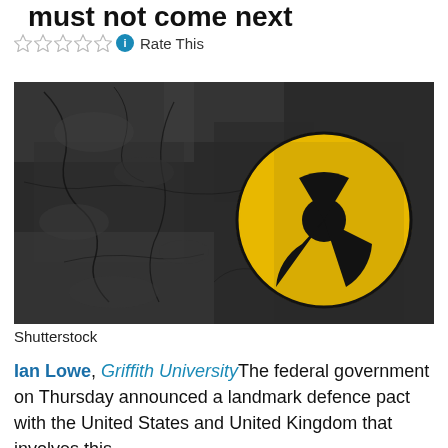must not come next
Rate This
[Figure (photo): A cracked, dark concrete or stone wall surface with a yellow and black radioactive/nuclear warning symbol painted on the right side. The image is in desaturated dark tones except for the vivid yellow of the symbol.]
Shutterstock
Ian Lowe, Griffith University The federal government on Thursday announced a landmark defence pact with the United States and United Kingdom that involves this